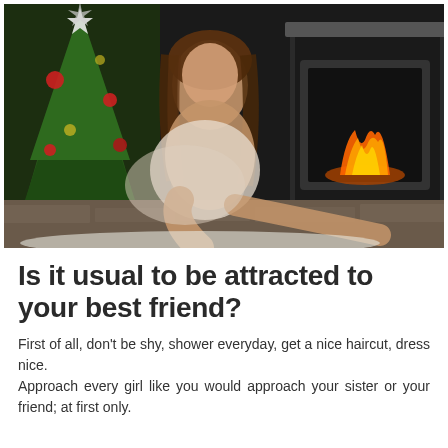[Figure (photo): A young woman with long brown hair posing near a Christmas tree and a fireplace, holding a fur blanket, wearing minimal clothing, sitting on a stone hearth.]
Is it usual to be attracted to your best friend?
First of all, don't be shy, shower everyday, get a nice haircut, dress nice.
Approach every girl like you would approach your sister or your friend; at first only.